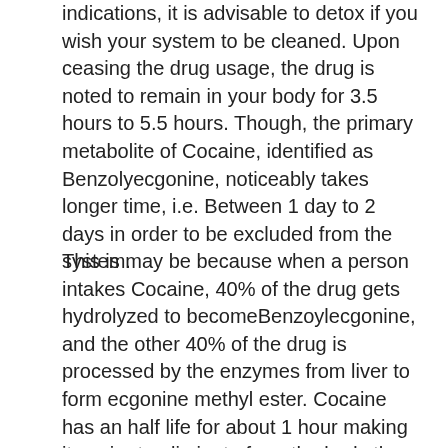indications, it is advisable to detox if you wish your system to be cleaned. Upon ceasing the drug usage, the drug is noted to remain in your body for 3.5 hours to 5.5 hours. Though, the primary metabolite of Cocaine, identified as Benzolyecgonine, noticeably takes longer time, i.e. Between 1 day to 2 days in order to be excluded from the system.
This is may be because when a person intakes Cocaine, 40% of the drug gets hydrolyzed to becomeBenzoylecgonine, and the other 40% of the drug is processed by the enzymes from liver to form ecgonine methyl ester. Cocaine has an half life for about 1 hour making it easier to eliminate from the body than Benzoylecgonine, that has an half life for about 6 hours. When hydrolyzed, the...